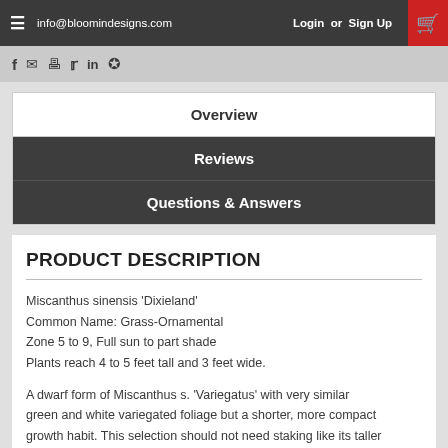info@bloomindesigns.com   Login  or  Sign Up
Overview
Reviews
Questions & Answers
PRODUCT DESCRIPTION
Miscanthus sinensis 'Dixieland'
Common Name: Grass-Ornamental
Zone 5 to 9, Full sun to part shade
Plants reach 4 to 5 feet tall and 3 feet wide.
A dwarf form of Miscanthus s. 'Variegatus' with very similar green and white variegated foliage but a shorter, more compact growth habit. This selection should not need staking like its taller cousin. It provides a strong white element to the landscape which is especially pronounced when planted in front of larger shrubs or evergreens. The